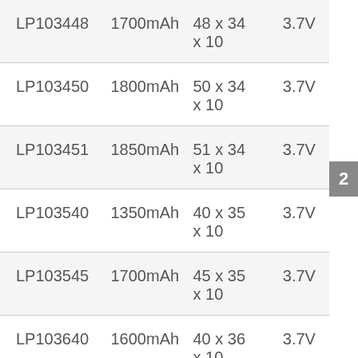| LP103448 | 1700mAh | 48 x 34 x 10 | 3.7V |
| LP103450 | 1800mAh | 50 x 34 x 10 | 3.7V |
| LP103451 | 1850mAh | 51 x 34 x 10 | 3.7V |
| LP103540 | 1350mAh | 40 x 35 x 10 | 3.7V |
| LP103545 | 1700mAh | 45 x 35 x 10 | 3.7V |
| LP103640 | 1600mAh | 40 x 36 x 10 | 3.7V |